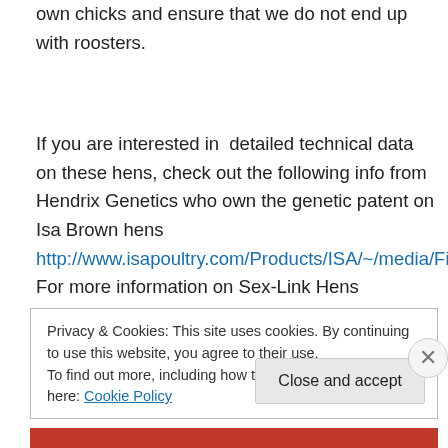own chicks and ensure that we do not end up with roosters.
If you are interested in  detailed technical data on these hens, check out the following info from Hendrix Genetics who own the genetic patent on Isa Brown hens http://www.isapoultry.com/Products/ISA/~/media/Files/ISA/ISA%20product%20information/ISA/Commercials/201112%20ISA%20Brown%20FP%20product%20performance.ashx.  For more information on Sex-Link Hens http://en.wikipedia.org/wiki/Sex_link
Privacy & Cookies: This site uses cookies. By continuing to use this website, you agree to their use. To find out more, including how to control cookies, see here: Cookie Policy